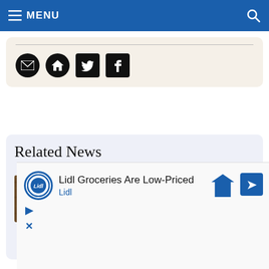MENU
[Figure (screenshot): Social sharing icons: email, home, Twitter, Facebook on a cream-colored card with a horizontal divider line]
Related News
[Figure (photo): Photo of US dollar bills on a wooden surface]
[Figure (screenshot): Advertisement: Lidl Groceries Are Low-Priced - Lidl (with Lidl logo and navigation arrow icon)]